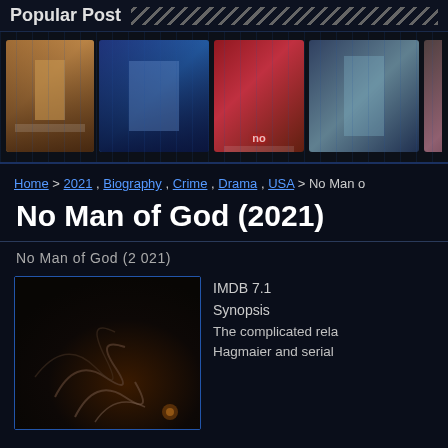Popular Post
[Figure (photo): Row of movie/content thumbnails in a dark-themed website]
Home > 2021 , Biography , Crime , Drama , USA > No Man o
No Man of God (2021)
No Man of God (2021)
[Figure (photo): Dark movie poster placeholder with swirl decorative elements]
IMDB 7.1
Synopsis
The complicated rela
Hagmaier and serial